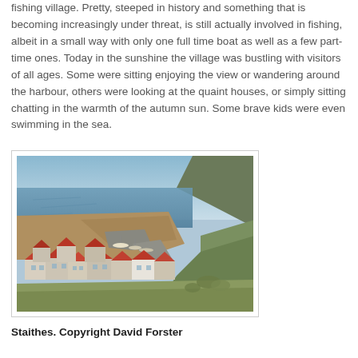fishing village. Pretty, steeped in history and something that is becoming increasingly under threat, is still actually involved in fishing, albeit in a small way with only one full time boat as well as a few part-time ones. Today in the sunshine the village was bustling with visitors of all ages. Some were sitting enjoying the view or wandering around the harbour, others were looking at the quaint houses, or simply sitting chatting in the warmth of the autumn sun. Some brave kids were even swimming in the sea.
[Figure (photo): Aerial/elevated view of Staithes harbour at low tide, showing the harbour wall, boats, sea and a cluster of houses with red/terracotta rooftops in the foreground, cliffs in the background under a blue sky.]
Staithes. Copyright David Forster